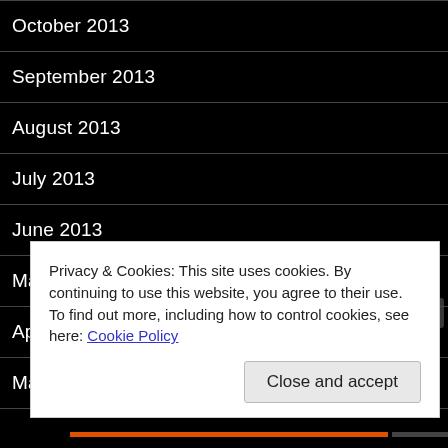October 2013
September 2013
August 2013
July 2013
June 2013
May 2013
April 2013
March 2013
February 2013
Privacy & Cookies: This site uses cookies. By continuing to use this website, you agree to their use.
To find out more, including how to control cookies, see here: Cookie Policy
Close and accept